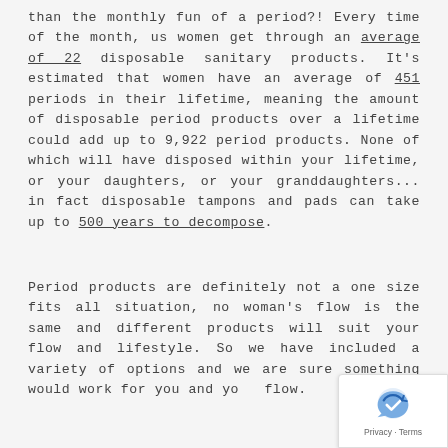than the monthly fun of a period?! Every time of the month, us women get through an average of 22 disposable sanitary products. It's estimated that women have an average of 451 periods in their lifetime, meaning the amount of disposable period products over a lifetime could add up to 9,922 period products. None of which will have disposed within your lifetime, or your daughters, or your granddaughters... in fact disposable tampons and pads can take up to 500 years to decompose.
Period products are definitely not a one size fits all situation, no woman's flow is the same and different products will suit your flow and lifestyle. So we have included a variety of options and we are sure something would work for you and your flow.